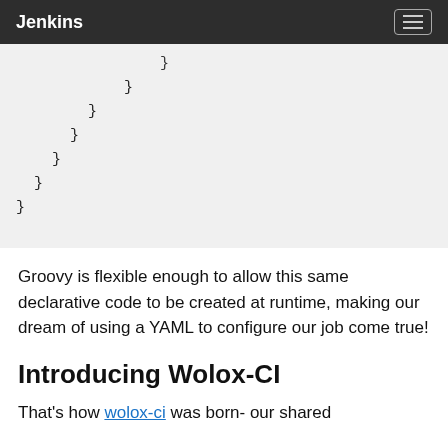Jenkins
[Figure (screenshot): Code block showing closing curly braces at various indentation levels in Groovy/Jenkins pipeline syntax]
Groovy is flexible enough to allow this same declarative code to be created at runtime, making our dream of using a YAML to configure our job come true!
Introducing Wolox-CI
That's how wolox-ci was born- our shared